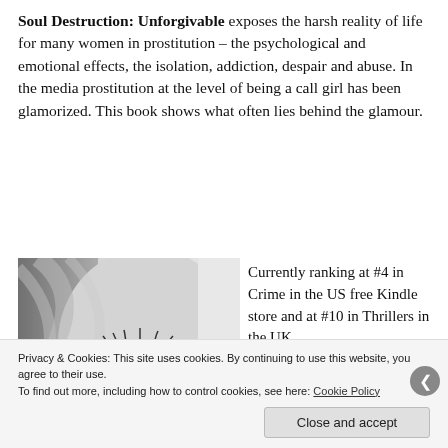Soul Destruction: Unforgivable exposes the harsh reality of life for many women in prostitution – the psychological and emotional effects, the isolation, addiction, despair and abuse. In the media prostitution at the level of being a call girl has been glamorized. This book shows what often lies behind the glamour.
[Figure (photo): Black and white close-up photo of a woman's face, showing her eye and blonde hair, with a dark moody aesthetic.]
Currently ranking at #4 in Crime in the US free Kindle store and at #10 in Thrillers in the UK.
Privacy & Cookies: This site uses cookies. By continuing to use this website, you agree to their use.
To find out more, including how to control cookies, see here: Cookie Policy
Close and accept